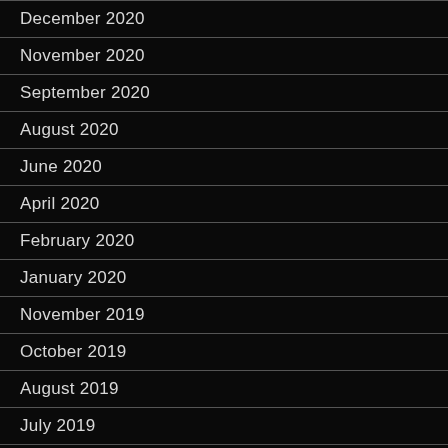December 2020
November 2020
September 2020
August 2020
June 2020
April 2020
February 2020
January 2020
November 2019
October 2019
August 2019
July 2019